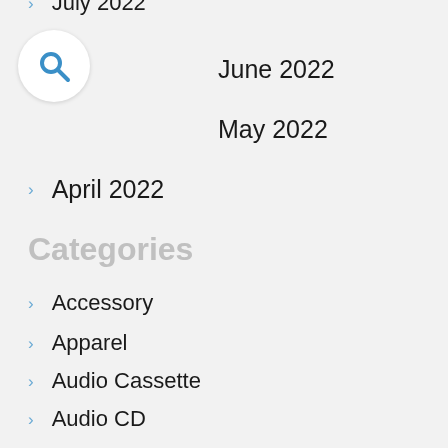July 2022
June 2022
May 2022
April 2022
Categories
Accessory
Apparel
Audio Cassette
Audio CD
Automotive
Baby Product
Battery